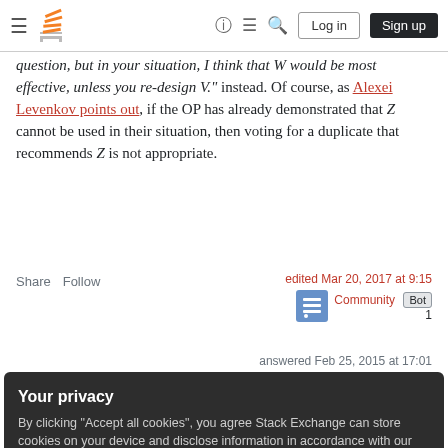Stack Exchange navigation bar with hamburger menu, logo, help, chat, search icons, Log in and Sign up buttons
question, but in your situation, I think that W would be most effective, unless you re-design V." instead. Of course, as Alexei Levenkov points out, if the OP has already demonstrated that Z cannot be used in their situation, then voting for a duplicate that recommends Z is not appropriate.
Share  Follow
edited Mar 20, 2017 at 9:15
Community Bot
1
answered Feb 25, 2015 at 17:01
Your privacy
By clicking "Accept all cookies", you agree Stack Exchange can store cookies on your device and disclose information in accordance with our Cookie Policy.
Accept all cookies   Customize settings
valid and found it odd that it was closed as a duplicate